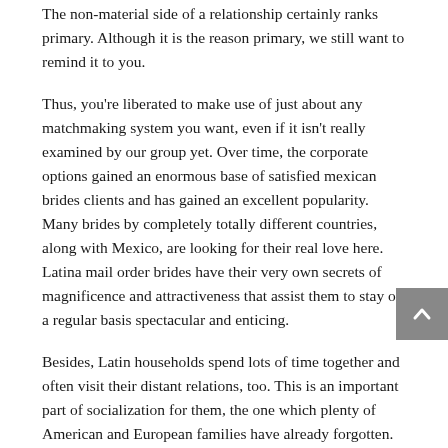The non-material side of a relationship certainly ranks primary. Although it is the reason primary, we still want to remind it to you.
Thus, you're liberated to make use of just about any matchmaking system you want, even if it isn't really examined by our group yet. Over time, the corporate options gained an enormous base of satisfied mexican brides clients and has gained an excellent popularity. Many brides by completely totally different countries, along with Mexico, are looking for their real love here. Latina mail order brides have their very own secrets of magnificence and attractiveness that assist them to stay on a regular basis spectacular and enticing.
Besides, Latin households spend lots of time together and often visit their distant relations, too. This is an important part of socialization for them, the one which plenty of American and European families have already forgotten. Good sites have 1000's of single Latin